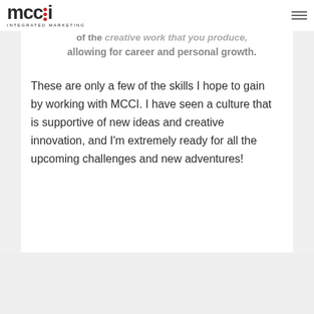[Figure (logo): MCCI Integrated Marketing logo — bold dark letters 'mcci' with red dots, subtitle 'INTEGRATED MARKETING']
your bosses, colleagues and even your peers. They understand the importance of the creative work that you produce, allowing for career and personal growth.
These are only a few of the skills I hope to gain by working with MCCI. I have seen a culture that is supportive of new ideas and creative innovation, and I'm extremely ready for all the upcoming challenges and new adventures!